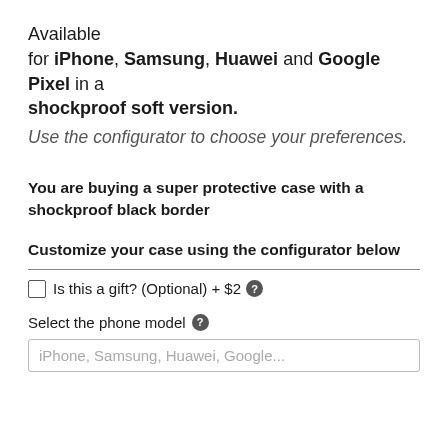Available for iPhone, Samsung, Huawei and Google Pixel in a shockproof soft version. Use the configurator to choose your preferences.
You are buying a super protective case with a shockproof black border
Customize your case using the configurator below
Is this a gift? (Optional) + $2
Select the phone model
iPhone, Samsung, Huawei, Google...